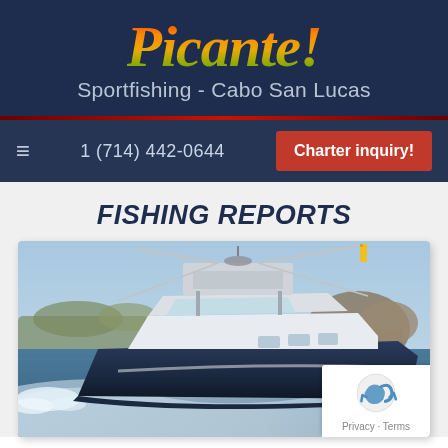Picante! Sportfishing - Cabo San Lucas
1 (714) 442-0644
Charter inquiry!
FISHING REPORTS
[Figure (photo): A white sportfishing boat speeding through water with rocky cliffs and ocean in the background, at Cabo San Lucas.]
Privacy · Terms